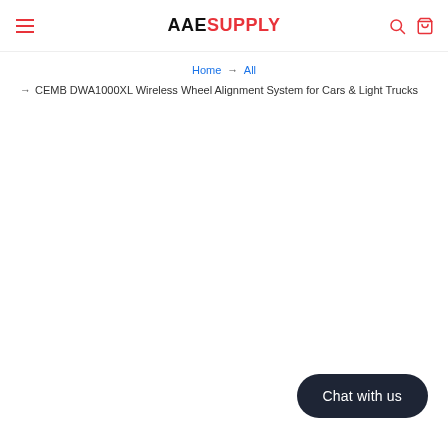AAE SUPPLY
Home → All → CEMB DWA1000XL Wireless Wheel Alignment System for Cars & Light Trucks
Chat with us